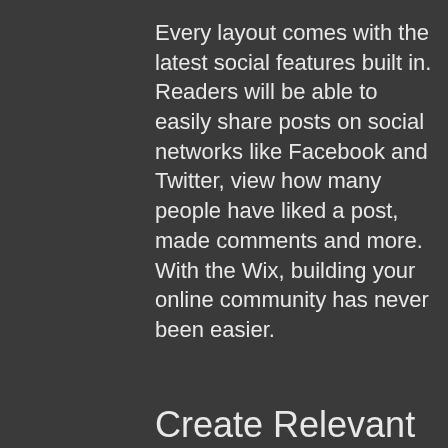Every layout comes with the latest social features built in. Readers will be able to easily share posts on social networks like Facebook and Twitter, view how many people have liked a post, made comments and more. With the Wix, building your online community has never been easier.
Create Relevant Content
You'll be posting loads of engaging content, so be sure to keep your blog organized with Categories that also allow readers to explore more of what